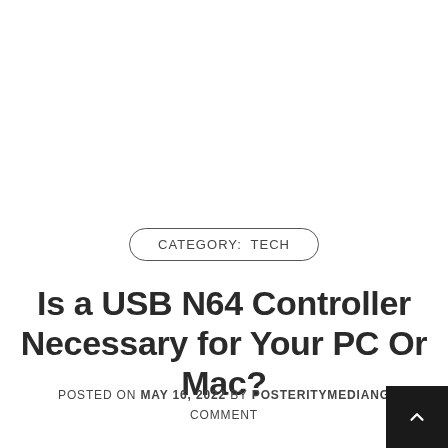CATEGORY: TECH
Is a USB N64 Controller Necessary for Your PC Or Mac?
POSTED ON MAY 16, 2022  BY POSTERITYMEDIANG COMMENT